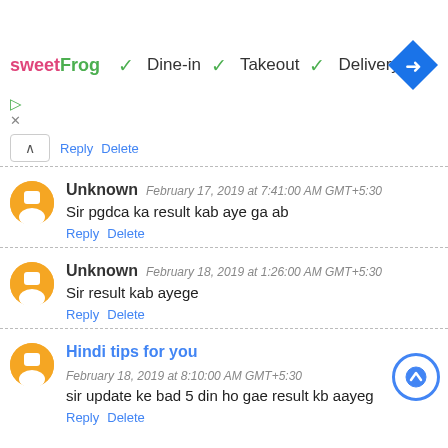[Figure (screenshot): Ad banner for sweetFrog with Dine-in, Takeout, Delivery checkmarks and a navigation arrow icon]
Reply   Delete
Unknown   February 17, 2019 at 7:41:00 AM GMT+5:30
Sir pgdca ka result kab aye ga ab
Reply   Delete
Unknown   February 18, 2019 at 1:26:00 AM GMT+5:30
Sir result kab ayege
Reply   Delete
Hindi tips for you   February 18, 2019 at 8:10:00 AM GMT+5:30
sir update ke bad 5 din ho gae result kb aayeg
Reply   Delete